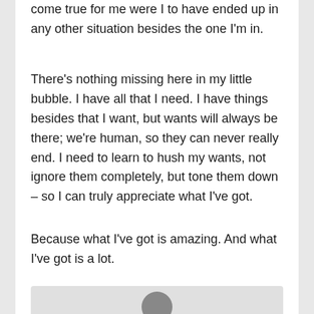come true for me were I to have ended up in any other situation besides the one I'm in.
There's nothing missing here in my little bubble. I have all that I need. I have things besides that I want, but wants will always be there; we're human, so they can never really end. I need to learn to hush my wants, not ignore them completely, but tone them down – so I can truly appreciate what I've got.
Because what I've got is amazing. And what I've got is a lot.
[Figure (photo): Partial view of a person's head/hair visible at the bottom of the page, cropped]